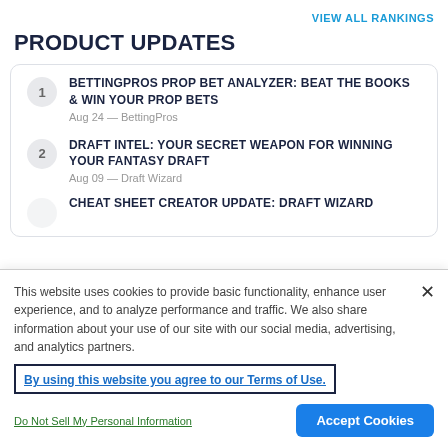VIEW ALL RANKINGS
PRODUCT UPDATES
BETTINGPROS PROP BET ANALYZER: BEAT THE BOOKS & WIN YOUR PROP BETS
Aug 24 — BettingPros
DRAFT INTEL: YOUR SECRET WEAPON FOR WINNING YOUR FANTASY DRAFT
Aug 09 — Draft Wizard
CHEAT SHEET CREATOR UPDATE: DRAFT WIZARD
This website uses cookies to provide basic functionality, enhance user experience, and to analyze performance and traffic. We also share information about your use of our site with our social media, advertising, and analytics partners.
By using this website you agree to our Terms of Use.
Do Not Sell My Personal Information
Accept Cookies